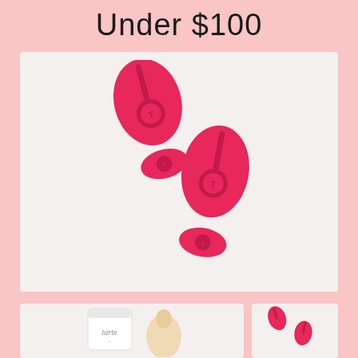Under $100
[Figure (photo): Two hot pink/magenta Tory Burch Miller jelly sandals (flip flops) with the iconic double-T logo medallion, displayed on a light pink background]
[Figure (photo): Tarte branded cosmetic product tube next to a beige beauty sponge/blender on light pink background]
[Figure (photo): Small pair of hot pink Tory Burch Miller jelly sandals on light pink background]